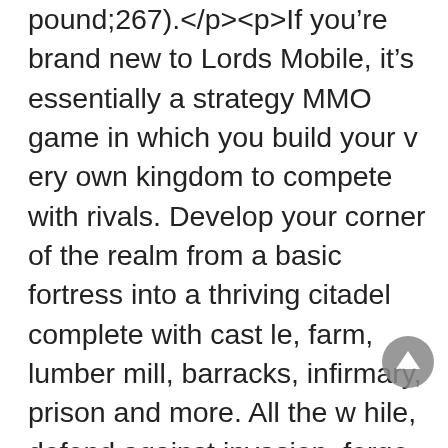pound;267).</p><p>If you&rsquo;re brand new to Lords Mobile, it&rsquo;s essentially a strategy MMO game in which you build your very own kingdom to compete with rivals. Develop your corner of the realm from a basic fortress into a thriving citadel complete with castle, farm, lumber mill, barracks, infirmary, prison and more. All the while, defend against invasion, forge alliances with fellow players and plunder enemy kingdoms.</p><p>Of course, to do all that, you need an army. In Lords Mobile, that means training up battalions of different troop types, from cavalry to cannoneers, to do your bidding. The other vital defenders of your realm are your heroes &ndash; colourful, cartoonish warriors to collect, upgrade and set as your leaders. These heroes also take on enemies in smaller-scale skirmishes during other game modes, such as the Colosseum PvP arena or the PvE Hero Stages.</p><p>Current Lords Mobile players may have a head start, but the new gift pack &ndash; exclusively for beginners &ndash; will give you a rare chance to catch up. All you need to get the pack is to download the game from the official IGG event